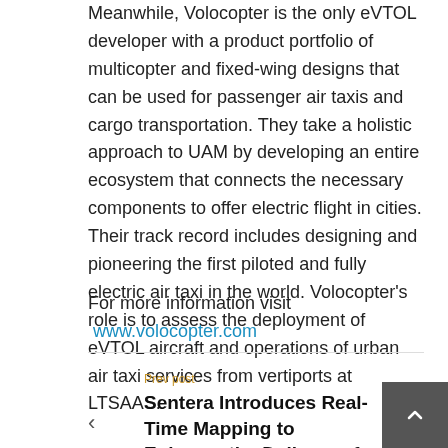Meanwhile, Volocopter is the only eVTOL developer with a product portfolio of multicopter and fixed-wing designs that can be used for passenger air taxis and cargo transportation. They take a holistic approach to UAM by developing an entire ecosystem that connects the necessary components to offer electric flight in cities. Their track record includes designing and pioneering the first piloted and fully electric air taxi in the world. Volocopter's role is to assess the deployment of eVTOL aircraft and operations of urban air taxi services from vertiports at LTSAAS.
For more information visit www.volocopter.com
Prev post
Sentera Introduces Real-Time Mapping to Enhance the Delivery of Timely and Actionable Decision Support